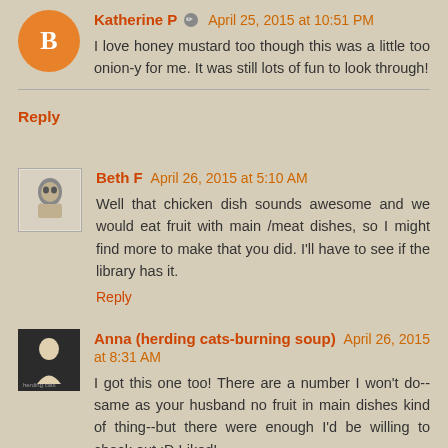Katherine P  April 25, 2015 at 10:51 PM
I love honey mustard too though this was a little too onion-y for me. It was still lots of fun to look through!
Reply
Beth F  April 26, 2015 at 5:10 AM
Well that chicken dish sounds awesome and we would eat fruit with main /meat dishes, so I might find more to make that you did. I'll have to see if the library has it.
Reply
Anna (herding cats-burning soup)  April 26, 2015 at 8:31 AM
I got this one too! There are a number I won't do--same as your husband no fruit in main dishes kind of thing--but there were enough I'd be willing to check out :D Liked!